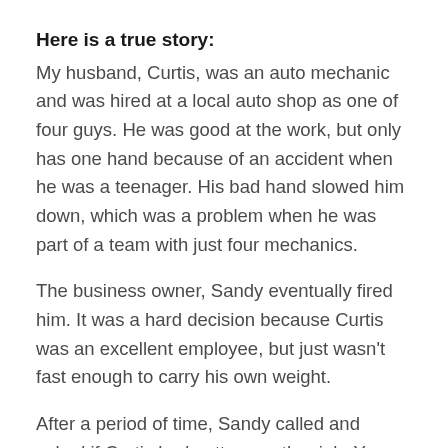Here is a true story:
My husband, Curtis, was an auto mechanic and was hired at a local auto shop as one of four guys. He was good at the work, but only has one hand because of an accident when he was a teenager. His bad hand slowed him down, which was a problem when he was part of a team with just four mechanics.
The business owner, Sandy eventually fired him. It was a hard decision because Curtis was an excellent employee, but just wasn't fast enough to carry his own weight.
After a period of time, Sandy called and asked if Curtis had gotten another job. Yes, he was